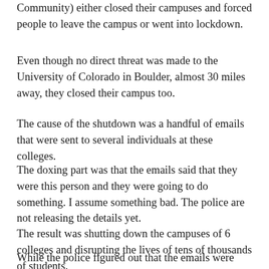Community) either closed their campuses and forced people to leave the campus or went into lockdown.
Even though no direct threat was made to the University of Colorado in Boulder, almost 30 miles away, they closed their campus too.
The cause of the shutdown was a handful of emails that were sent to several individuals at these colleges.
The doxing part was that the emails said that they were this person and they were going to do something. I assume something bad. The police are not releasing the details yet.
The result was shutting down the campuses of 6 colleges and disrupting the lives of tens of thousands of students.
While the police figured out that the emails were hoaxes, that didn't happen until after the campuses were shut down and